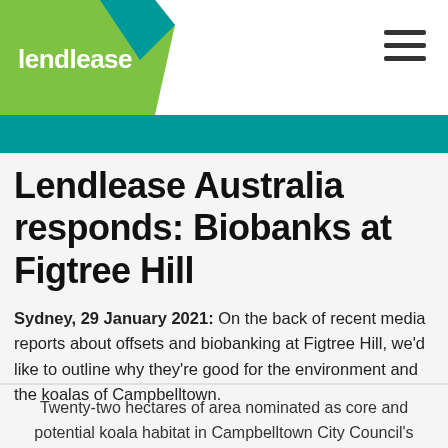[Figure (logo): Lendlease logo — green angular shape with white 'lendlease' text]
Lendlease Australia responds: Biobanks at Figtree Hill
Sydney, 29 January 2021:  On the back of recent media reports about offsets and biobanking at Figtree Hill, we'd like to outline why they're good for the environment and the koalas of Campbelltown.
Twenty-two hectares of area nominated as core and potential koala habitat in Campbelltown City Council's